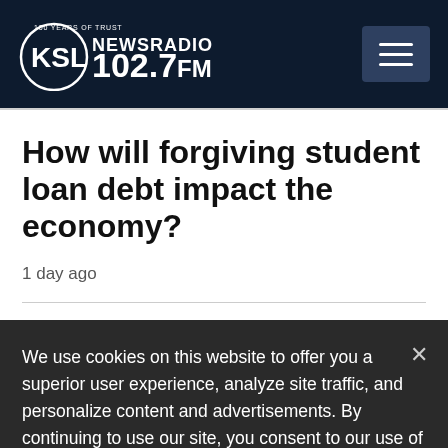KSL NewsRadio 102.7 FM
How will forgiving student loan debt impact the economy?
1 day ago
[Figure (photo): Partial view of a news article photo, cropped by cookie overlay]
We use cookies on this website to offer you a superior user experience, analyze site traffic, and personalize content and advertisements. By continuing to use our site, you consent to our use of cookies. Please visit our Privacy Policy for more information.
Accept Cookies